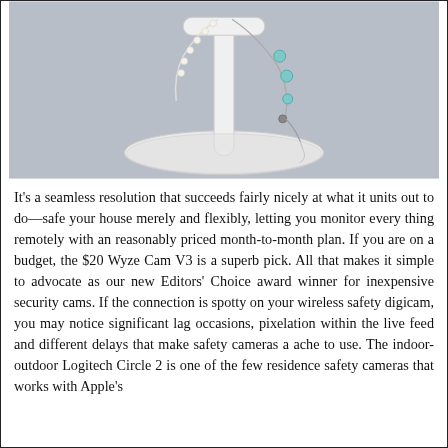[Figure (photo): A photo of jewelry — a pearl and turquoise bead bracelet/necklace displayed on a white T-bar jewelry stand with a round base, against a light grey background.]
It's a seamless resolution that succeeds fairly nicely at what it units out to do—safe your house merely and flexibly, letting you monitor every thing remotely with an reasonably priced month-to-month plan. If you are on a budget, the $20 Wyze Cam V3 is a superb pick. All that makes it simple to advocate as our new Editors' Choice award winner for inexpensive security cams. If the connection is spotty on your wireless safety digicam, you may notice significant lag occasions, pixelation within the live feed and different delays that make safety cameras a ache to use. The indoor-outdoor Logitech Circle 2 is one of the few residence safety cameras that works with Apple's